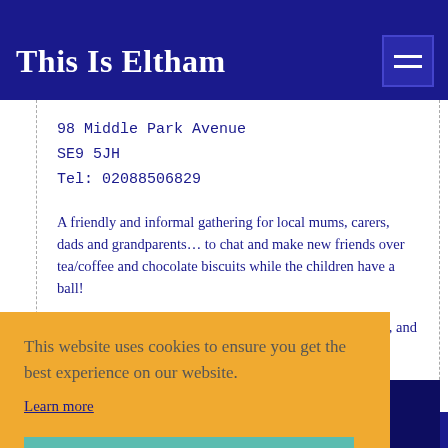This Is Eltham
98 Middle Park Avenue
SE9 5JH
Tel: 02088506829
A friendly and informal gathering for local mums, carers, dads and grandparents… to chat and make new friends over tea/coffee and chocolate biscuits while the children have a ball!
We meet every Friday 1-3pm (including school holidays), and it is [partially obscured] mers.
This website uses cookies to ensure you get the best experience on our website.
Learn more
Got it!